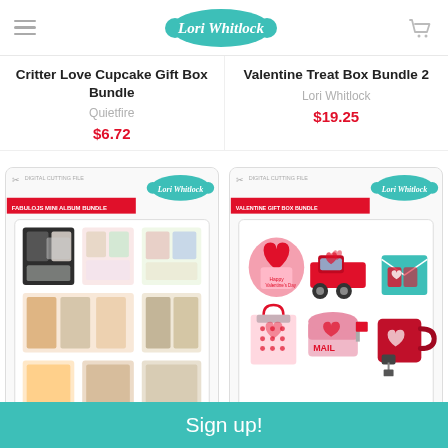[Figure (logo): Lori Whitlock logo in teal badge shape with hamburger menu and cart icon in header]
Critter Love Cupcake Gift Box Bundle
Quietfire
$6.72
Valentine Treat Box Bundle 2
Lori Whitlock
$19.25
[Figure (photo): Fabulojs Mini Album Bundle digital cutting file product image showing various mini photo album designs]
[Figure (photo): Valentine Gift Box Bundle digital cutting file product image showing heart box, red truck, envelope, gift bag, mailbox, and mug treats]
Sign up!